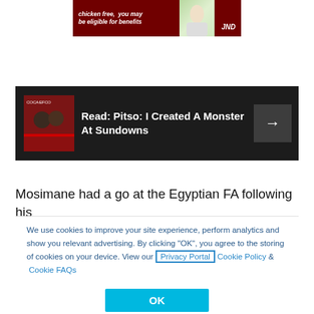[Figure (illustration): Advertisement banner with dark red background, white italic text 'chicken free, you may be eligible for benefits', a photo of a person in white, and JND logo]
[Figure (screenshot): Dark card with thumbnail image of two men at a press conference, bold white text 'Read: Pitso: I Created A Monster At Sundowns' and a right arrow button]
Mosimane had a go at the Egyptian FA following his
We use cookies to improve your site experience, perform analytics and show you relevant advertising. By clicking "OK", you agree to the storing of cookies on your device. View our Privacy Portal Cookie Policy & Cookie FAQs
OK